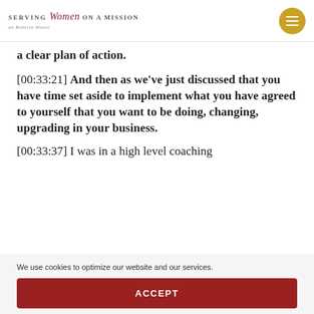SERVING Women ON A MISSION
a clear plan of action.
[00:33:21] And then as we've just discussed that you have time set aside to implement what you have agreed to yourself that you want to be doing, changing, upgrading in your business.
[00:33:37] I was in a high level coaching
We use cookies to optimize our website and our services.
ACCEPT